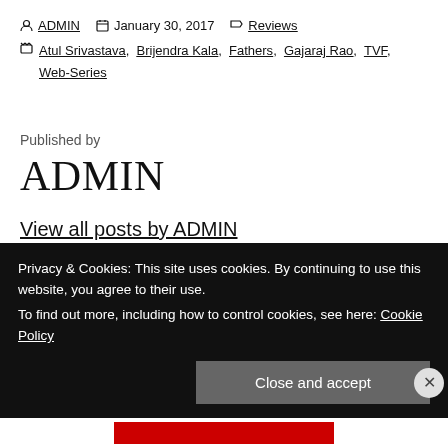ADMIN  January 30, 2017  Reviews
Atul Srivastava, Brijendra Kala, Fathers, Gajaraj Rao, TVF, Web-Series
Published by
ADMIN
View all posts by ADMIN
Privacy & Cookies: This site uses cookies. By continuing to use this website, you agree to their use.
To find out more, including how to control cookies, see here: Cookie Policy
Close and accept